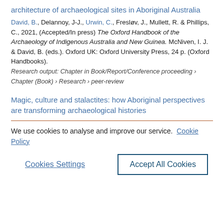architecture of archaeological sites in Aboriginal Australia
David, B., Delannoy, J-J., Urwin, C., Fresløv, J., Mullett, R. & Phillips, C., 2021, (Accepted/In press) The Oxford Handbook of the Archaeology of Indigenous Australia and New Guinea. McNiven, I. J. & David, B. (eds.). Oxford UK: Oxford University Press, 24 p. (Oxford Handbooks).
Research output: Chapter in Book/Report/Conference proceeding › Chapter (Book) › Research › peer-review
Magic, culture and stalactites: how Aboriginal perspectives are transforming archaeological histories
We use cookies to analyse and improve our service. Cookie Policy
Cookies Settings
Accept All Cookies